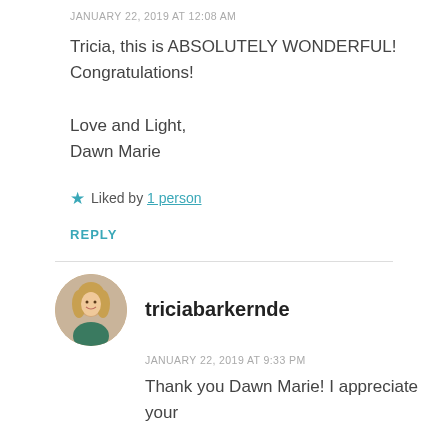JANUARY 22, 2019 AT 12:08 AM
Tricia, this is ABSOLUTELY WONDERFUL! Congratulations!

Love and Light,
Dawn Marie
★ Liked by 1 person
REPLY
triciabarkernde
JANUARY 22, 2019 AT 9:33 PM
Thank you Dawn Marie! I appreciate your